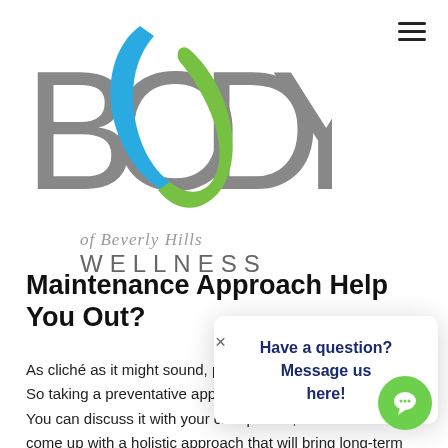[Figure (logo): Body of Beverly Hills Wellness logo with large colorful BODY letters (blue and green swoosh) and subtitle text 'of Beverly Hills WELLNESS']
Maintenance Approach Help You Out?
As cliché as it might sound, prevention is better than cure. So taking a preventative approach can work in your favor. You can discuss it with your chiropractor, who can then come up with a holistic approach that will bring long-term benefits your way.
[Figure (screenshot): Chat popup overlay with text 'Have a question? Message us here!' and a green chat bubble button with speech icon]